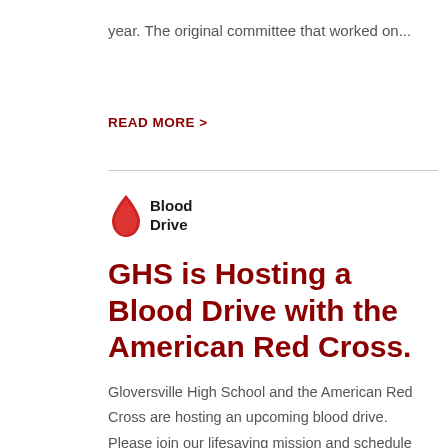year. The original committee that worked on...
READ MORE >
[Figure (logo): Blood Drive logo with a red blood drop icon and text 'Blood Drive']
GHS is Hosting a Blood Drive with the American Red Cross.
Gloversville High School and the American Red Cross are hosting an upcoming blood drive. Please join our lifesaving mission and schedule an appointment today!Drive Details:Site: